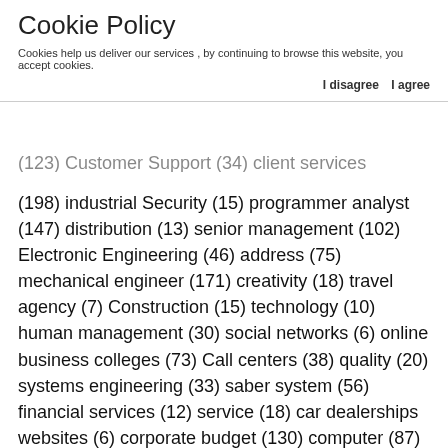Cookie Policy
Cookies help us deliver our services , by continuing to browse this website, you accept cookies.
I disagree  I agree
(198) industrial Security (15) programmer analyst (147) distribution (13) senior management (102) Electronic Engineering (46) address (75) mechanical engineer (171) creativity (18) travel agency (7) Construction (15) technology (10) human management (30) social networks (6) online business colleges (73) Call centers (38) quality (20) systems engineering (33) saber system (56) financial services (12) service (18) car dealerships websites (6) corporate budget (130) computer (87) technical (10) it online colleges (211) assistant (26) delivery courier (114) security (15) central telephone handling. (64) support (32) civil engineer (307) corel draw (8) Human Resources (6) manager (106) agent (9) Office package. Customer Service (20) personal development (44) Administration (146) car finance dealerships near me (124) programmer (86) Telecommunications engineer (168) automotive